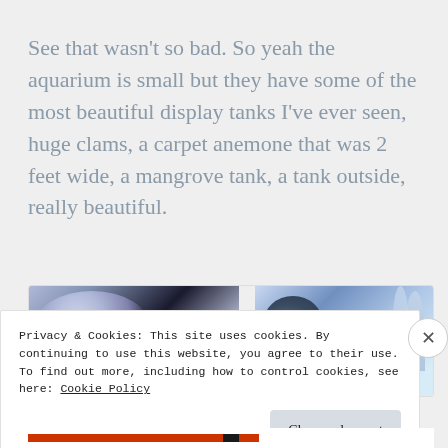See that wasn't so bad. So yeah the aquarium is small but they have some of the most beautiful display tanks I've ever seen, huge clams, a carpet anemone that was 2 feet wide, a mangrove tank, a tank outside, really beautiful.
[Figure (photo): Underwater aquarium photo strip showing fish and aquatic life with blue-toned lighting]
Privacy & Cookies: This site uses cookies. By continuing to use this website, you agree to their use.
To find out more, including how to control cookies, see here: Cookie Policy
Close and accept